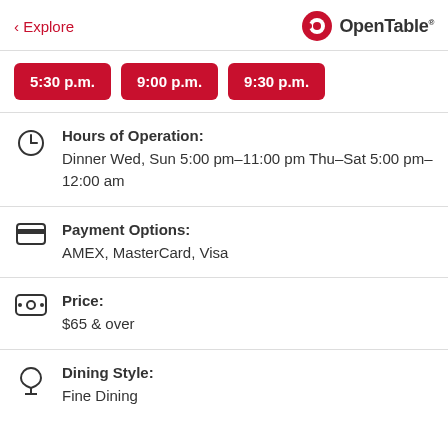< Explore   OpenTable
5:30 p.m.   9:00 p.m.   9:30 p.m.
Hours of Operation:
Dinner Wed, Sun 5:00 pm–11:00 pm Thu–Sat 5:00 pm–12:00 am
Payment Options:
AMEX, MasterCard, Visa
Price:
$65 & over
Dining Style:
Fine Dining